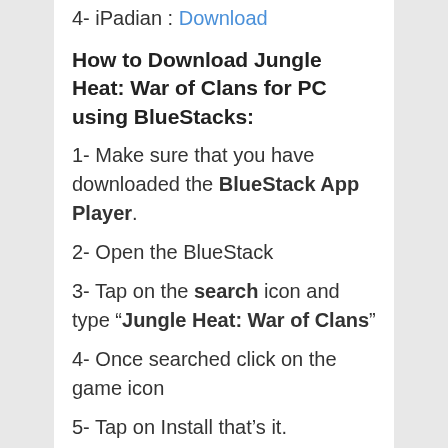4- iPadian : Download
How to Download Jungle Heat: War of Clans for PC using BlueStacks:
1- Make sure that you have downloaded the BlueStack App Player.
2- Open the BlueStack
3- Tap on the search icon and type “Jungle Heat: War of Clans”
4- Once searched click on the game icon
5- Tap on Install that’s it.